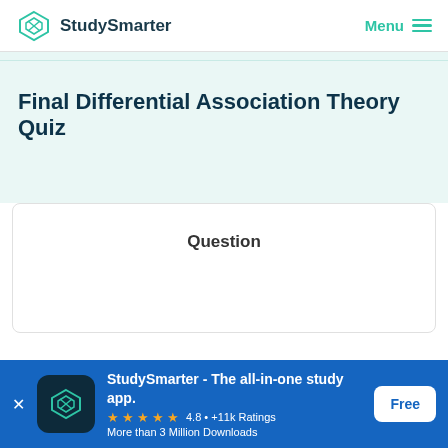StudySmarter   Menu
Final Differential Association Theory Quiz
Question
StudySmarter - The all-in-one study app. 4.8 • +11k Ratings More than 3 Million Downloads  Free